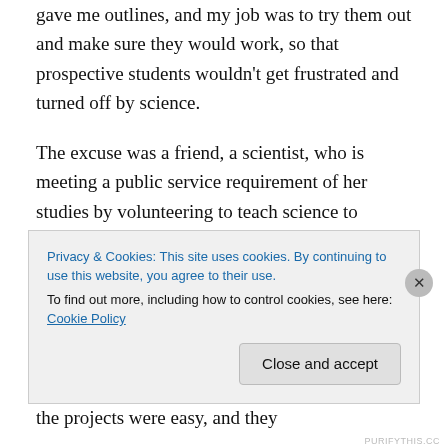gave me outlines, and my job was to try them out and make sure they would work, so that prospective students wouldn't get frustrated and turned off by science.
The excuse was a friend, a scientist, who is meeting a public service requirement of her studies by volunteering to teach science to schoolchildren, and to their teachers. I offered my science course as possible material for her classwork. As we looked over the experiments, we doubted a bit how even 9th graders might learn from them, or be as excited about them as I was when I built and tested them myself. Sure, the projects were easy, and they
Privacy & Cookies: This site uses cookies. By continuing to use this website, you agree to their use.
To find out more, including how to control cookies, see here: Cookie Policy
Close and accept